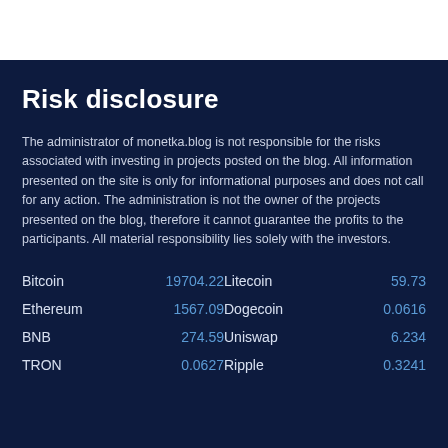Risk disclosure
The administrator of monetka.blog is not responsible for the risks associated with investing in projects posted on the blog. All information presented on the site is only for informational purposes and does not call for any action. The administration is not the owner of the projects presented on the blog, therefore it cannot guarantee the profits to the participants. All material responsibility lies solely with the investors.
| Coin | Value | Coin | Value |
| --- | --- | --- | --- |
| Bitcoin | 19704.22 | Litecoin | 59.73 |
| Ethereum | 1567.09 | Dogecoin | 0.0616 |
| BNB | 274.59 | Uniswap | 6.234 |
| TRON | 0.0627 | Ripple | 0.3241 |